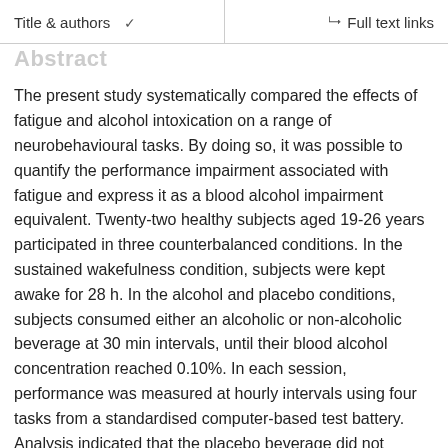Title & authors  ✓  Full text links
Abstract
The present study systematically compared the effects of fatigue and alcohol intoxication on a range of neurobehavioural tasks. By doing so, it was possible to quantify the performance impairment associated with fatigue and express it as a blood alcohol impairment equivalent. Twenty-two healthy subjects aged 19-26 years participated in three counterbalanced conditions. In the sustained wakefulness condition, subjects were kept awake for 28 h. In the alcohol and placebo conditions, subjects consumed either an alcoholic or non-alcoholic beverage at 30 min intervals, until their blood alcohol concentration reached 0.10%. In each session, performance was measured at hourly intervals using four tasks from a standardised computer-based test battery. Analysis indicated that the placebo beverage did not significantly effect mean relative performance. In